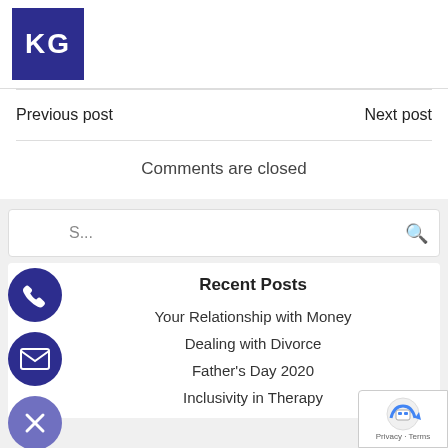[Figure (logo): KG logo — white letters KG on dark blue square background]
Previous post
Next post
Comments are closed
S...
Recent Posts
Your Relationship with Money
Dealing with Divorce
Father's Day 2020
Inclusivity in Therapy
[Figure (other): reCAPTCHA badge with robot icon and Privacy - Terms text]